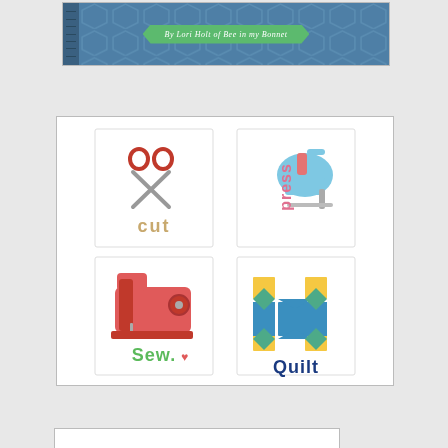[Figure (illustration): Book cover showing 'By Lori Holt of Bee in my Bonnet' text on a green banner over a blue hexagon-patterned background with a spiral-bound spine]
[Figure (illustration): Four quilting-themed cards in a 2x2 grid: Cut (scissors icon), Press (iron icon), Sew (sewing machine icon), Quilt (quilt block icon)]
[Figure (illustration): Partial image at bottom of page, mostly cropped]